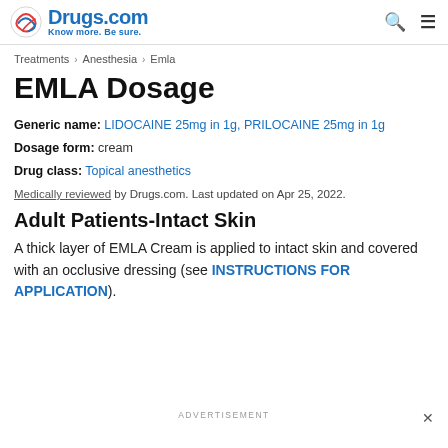Drugs.com — Know more. Be sure.
Treatments › Anesthesia › Emla
EMLA Dosage
Generic name: LIDOCAINE 25mg in 1g, PRILOCAINE 25mg in 1g
Dosage form: cream
Drug class: Topical anesthetics
Medically reviewed by Drugs.com. Last updated on Apr 25, 2022.
Adult Patients-Intact Skin
A thick layer of EMLA Cream is applied to intact skin and covered with an occlusive dressing (see INSTRUCTIONS FOR APPLICATION).
ADVERTISEMENT